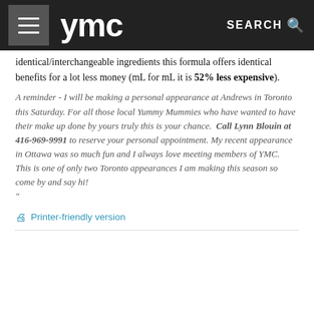ymc | SEARCH
identical/interchangeable ingredients this formula offers identical benefits for a lot less money (mL for mL it is 52% less expensive).
A reminder - I will be making a personal appearance at Andrews in Toronto this Saturday. For all those local Yummy Mummies who have wanted to have their make up done by yours truly this is your chance.  Call Lynn Blouin at 416-969-9991 to reserve your personal appointment. My recent appearance in Ottawa was so much fun and I always love meeting members of YMC.  This is one of only two Toronto appearances I am making this season so come by and say hi! "
Printer-friendly version